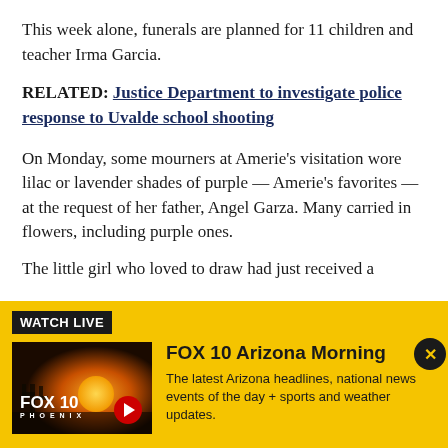This week alone, funerals are planned for 11 children and teacher Irma Garcia.
RELATED: Justice Department to investigate police response to Uvalde school shooting
On Monday, some mourners at Amerie’s visitation wore lilac or lavender shades of purple — Amerie’s favorites — at the request of her father, Angel Garza. Many carried in flowers, including purple ones.
The little girl who loved to draw had just received a
[Figure (screenshot): Watch Live banner with FOX 10 Arizona Morning thumbnail and description. Yellow background with black WATCH LIVE label, FOX 10 logo image on left, title and description on right, close button top right.]